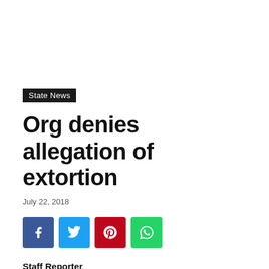State News
Org denies allegation of extortion
July 22, 2018
[Figure (infographic): Social sharing buttons: Facebook (blue), Twitter (cyan), Pinterest (red), WhatsApp (green)]
Staff Reporter
ITANAGAR, Jul 21: The Students Union Movement of All Arunachal (SUMAA) on Saturday denied allegation that its members served extortion notices to the business